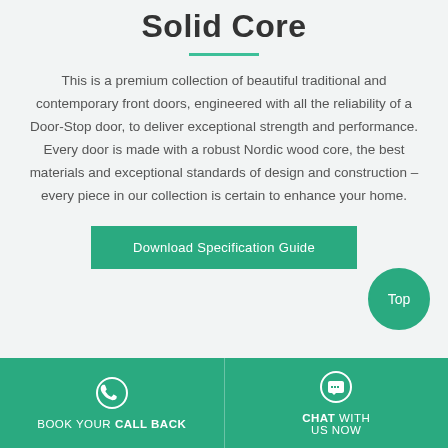Solid Core
This is a premium collection of beautiful traditional and contemporary front doors, engineered with all the reliability of a Door-Stop door, to deliver exceptional strength and performance. Every door is made with a robust Nordic wood core, the best materials and exceptional standards of design and construction – every piece in our collection is certain to enhance your home.
[Figure (other): Green button: Download Specification Guide]
[Figure (other): Top circle button with label 'Top']
[Figure (other): Footer bar with two sections: BOOK YOUR CALL BACK (phone icon) and CHAT WITH US NOW (chat icon)]